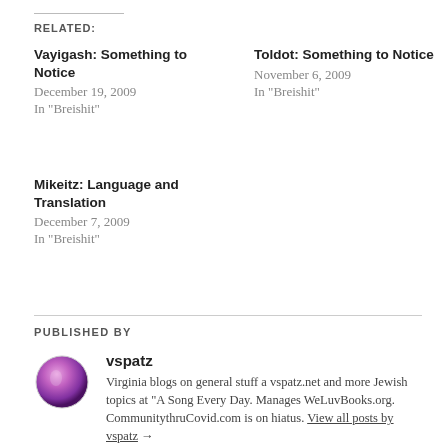RELATED:
Vayigash: Something to Notice
December 19, 2009
In "Breishit"
Toldot: Something to Notice
November 6, 2009
In "Breishit"
Mikeitz: Language and Translation
December 7, 2009
In "Breishit"
PUBLISHED BY
vspatz
Virginia blogs on general stuff a vspatz.net and more Jewish topics at "A Song Every Day. Manages WeLuvBooks.org. CommunitythruCovid.com is on hiatus. View all posts by vspatz →